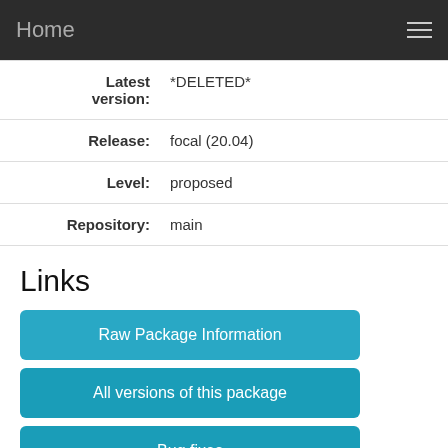Home
| Field | Value |
| --- | --- |
| Latest version: | *DELETED* |
| Release: | focal (20.04) |
| Level: | proposed |
| Repository: | main |
Links
Raw Package Information
All versions of this package
Bug fixes